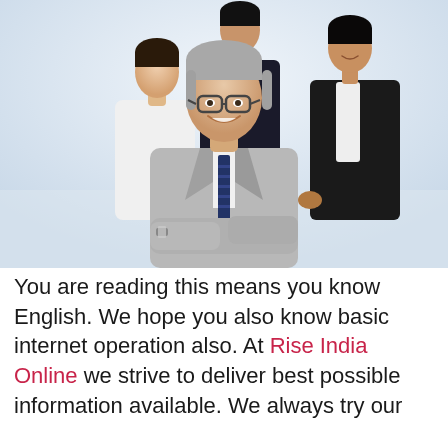[Figure (photo): A group of four business professionals posing together. In the foreground is a middle-aged man with grey hair and glasses wearing a light grey suit with a blue striped tie, arms crossed and smiling. Behind him are three other professionals: a woman in a white blouse on the left, a man in a dark suit in the center-back, and a woman in a dark blazer on the right.]
You are reading this means you know English. We hope you also know basic internet operation also. At Rise India Online we strive to deliver best possible information available. We always try our